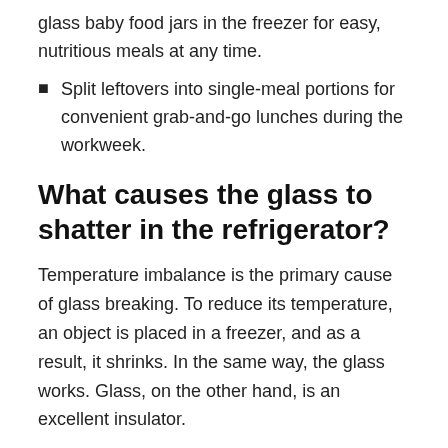glass baby food jars in the freezer for easy, nutritious meals at any time.
Split leftovers into single-meal portions for convenient grab-and-go lunches during the workweek.
What causes the glass to shatter in the refrigerator?
Temperature imbalance is the primary cause of glass breaking. To reduce its temperature, an object is placed in a freezer, and as a result, it shrinks. In the same way, the glass works. Glass, on the other hand, is an excellent insulator.
Consequently, its ability to dissipate heat is limited